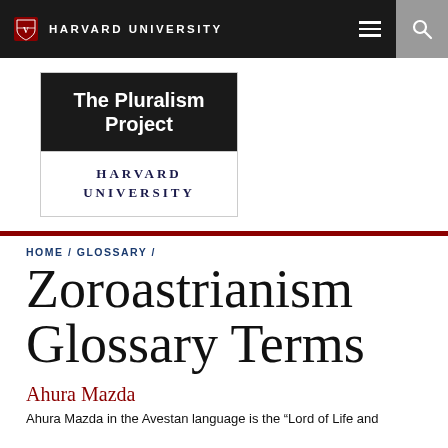HARVARD UNIVERSITY
[Figure (logo): The Pluralism Project Harvard University logo — black top section with white bold text 'The Pluralism Project', white bottom section with 'HARVARD UNIVERSITY' in spaced serif caps]
HOME / GLOSSARY /
Zoroastrianism Glossary Terms
Ahura Mazda
Ahura Mazda in the Avestan language is the "Lord of Life and